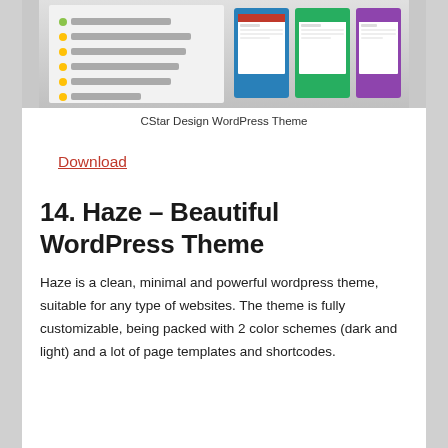[Figure (screenshot): Screenshot of CStar Design WordPress Theme showing bullet points of features and multiple device mockups displaying the theme]
CStar Design WordPress Theme
Download
14. Haze – Beautiful WordPress Theme
Haze is a clean, minimal and powerful wordpress theme, suitable for any type of websites. The theme is fully customizable, being packed with 2 color schemes (dark and light) and a lot of page templates and shortcodes.